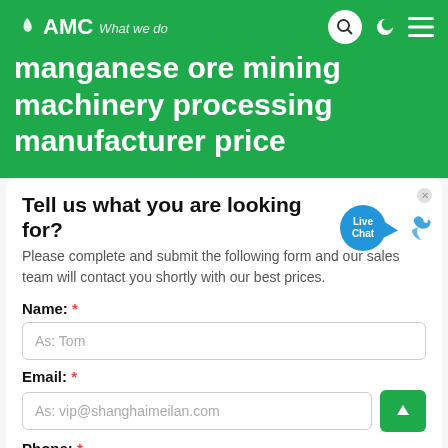AMC — What we do
manganese ore mining machinery processing manufacturer price
Tell us what you are looking for?
Please complete and submit the following form and our sales team will contact you shortly with our best prices.
Name: *
As: Tom
Email: *
As: vip@shanghaimeilan.com
Phone: *
With Country Code